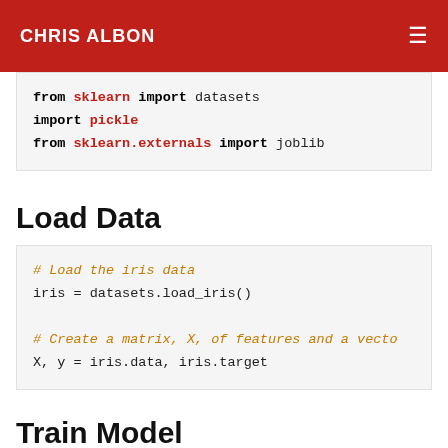CHRIS ALBON
from sklearn import datasets
import pickle
from sklearn.externals import joblib
Load Data
# Load the iris data
iris = datasets.load_iris()

# Create a matrix, X, of features and a vecto
X, y = iris.data, iris.target
Train Model
# Train a naive logistic regression model
clf = LogisticRegression(random_state=0)